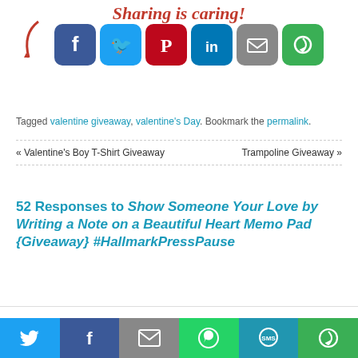[Figure (infographic): Sharing is caring! heading with red curved arrow and social sharing buttons: Facebook, Twitter, Pinterest, LinkedIn, Email, More (green)]
Tagged valentine giveaway, valentine's Day. Bookmark the permalink.
« Valentine's Boy T-Shirt Giveaway    Trampoline Giveaway »
52 Responses to Show Someone Your Love by Writing a Note on a Beautiful Heart Memo Pad {Giveaway} #HallmarkPressPause
This website uses cookies to improve your experience. We'll assume you're ok with this, but you can opt out if you wish.
[Figure (infographic): Bottom mobile share bar with Twitter, Facebook, Email, WhatsApp, SMS, More buttons]